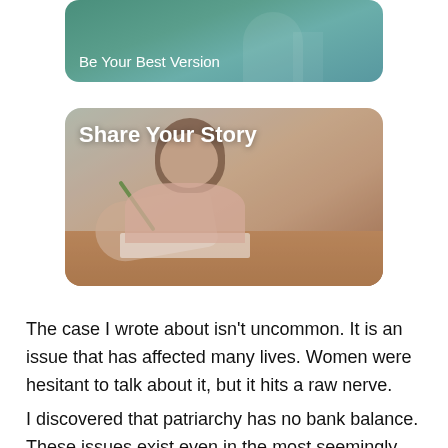[Figure (photo): Partially visible card with teal/green background and text 'Be Your Best Version' at the bottom left, showing top portion of a nature/person image]
[Figure (photo): Card image showing a young woman with curly brown hair writing at a table with a green pen, wearing a pink sleeveless top, with warm muted overlay. Title 'Share Your Story' appears in bold white text at the top left of the card.]
The case I wrote about isn't uncommon. It is an issue that has affected many lives. Women were hesitant to talk about it, but it hits a raw nerve.
I discovered that patriarchy has no bank balance. These issues exist even in the most seemingly